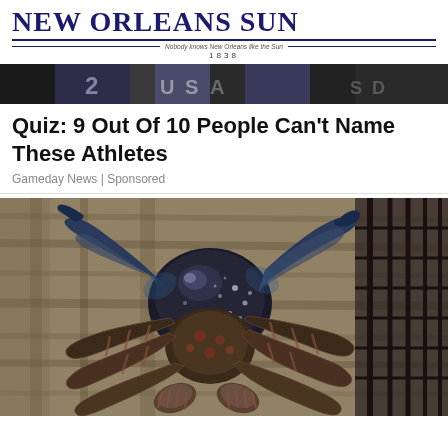NEW ORLEANS SUN — Nobody knows New Orleans like the Sun — 1838
[Figure (photo): Banner strip showing athletes in sports jerseys, partial view showing numbers and USA text]
Quiz: 9 Out Of 10 People Can't Name These Athletes
Gameday News | Sponsored
[Figure (photo): A large coconut crab clinging to a wooden palm tree trunk, photographed in daylight. The crab has a dark blue-black carapace with white spots, large claws, and striped legs.]